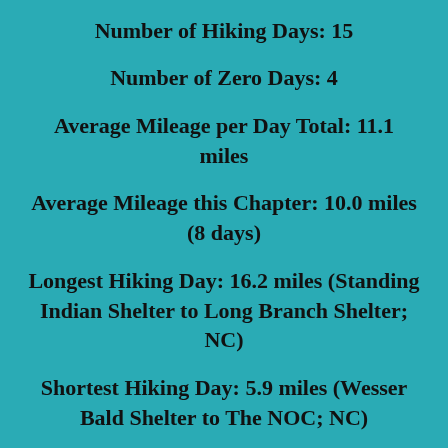Number of Hiking Days: 15
Number of Zero Days: 4
Average Mileage per Day Total: 11.1 miles
Average Mileage this Chapter: 10.0 miles (8 days)
Longest Hiking Day: 16.2 miles (Standing Indian Shelter to Long Branch Shelter; NC)
Shortest Hiking Day: 5.9 miles (Wesser Bald Shelter to The NOC; NC)